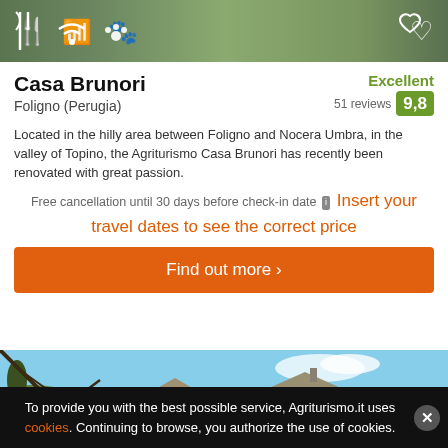[Figure (screenshot): Top image bar with icons: restaurant/fork-knife, wifi, pets, and heart/save icon on right]
Casa Brunori
Foligno (Perugia)
Excellent 9,8 — 51 reviews
Located in the hilly area between Foligno and Nocera Umbra, in the valley of Topino, the Agriturismo Casa Brunori has recently been renovated with great passion.
Free cancellation until 30 days before check-in date [i] Insert your travel dates to see the correct price
Find out more >
[Figure (photo): Exterior photo of stone farmhouse Casa Brunori with trees in foreground and blue sky]
To provide you with the best possible service, Agriturismo.it uses cookies. Continuing to browse, you authorize the use of cookies.